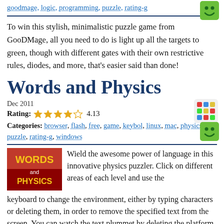goodmage, logic, programming, puzzle, rating-g
[Figure (illustration): Green smiley face icon]
To win this stylish, minimalistic puzzle game from GooDMage, all you need to do is light up all the targets to green, though with different gates with their own restrictive rules, diodes, and more, that's easier said than done!
Words and Physics
Dec 2011
Rating: 4.13
Categories: browser, flash, free, game, keybol, linux, mac, physics, puzzle, rating-g, windows
[Figure (illustration): Rubik's cube icon]
[Figure (illustration): Green smiley face icon]
[Figure (illustration): Words and Physics game thumbnail - red background with WORDS and PHYSICS text]
Wield the awesome power of language in this innovative physics puzzler. Click on different areas of each level and use the keyboard to change the environment, either by typing characters or deleting them, in order to remove the specified text from the screen. You can watch the text plummet by deleting the platform it's resting on, type "water" to make the text float, or use other difficult to mix, but easy to type words and more.